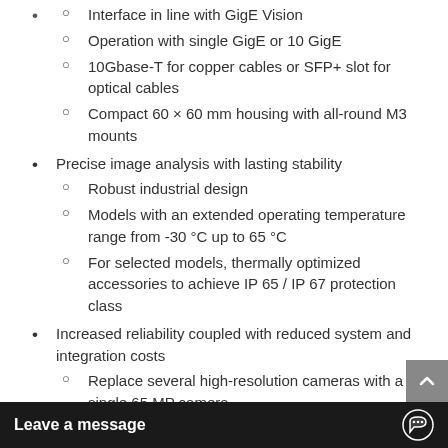Interface in line with GigE Vision (partial, cut off at top)
Operation with single GigE or 10 GigE
10Gbase-T for copper cables or SFP+ slot for optical cables
Compact 60 × 60 mm housing with all-round M3 mounts
Precise image analysis with lasting stability
Robust industrial design
Models with an extended operating temperature range from -30 °C up to 65 °C
For selected models, thermally optimized accessories to achieve IP 65 / IP 67 protection class
Increased reliability coupled with reduced system and integration costs
Replace several high-resolution cameras with a single 65 MP camera
Short transmission and response times
High bandwidth of 1.1 GB/s, 10 times faster than GigE, 35 perc… (cut off)